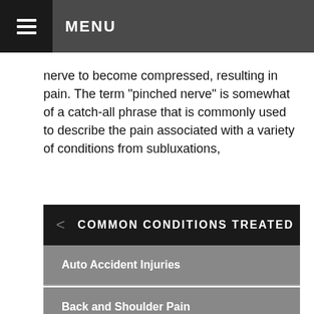MENU
nerve to become compressed, resulting in pain. The term "pinched nerve" is somewhat of a catch-all phrase that is commonly used to describe the pain associated with a variety of conditions from subluxations,
Read more
COMMON CONDITIONS TREATED
Auto Accident Injuries
Back and Shoulder Pain
Body Pain